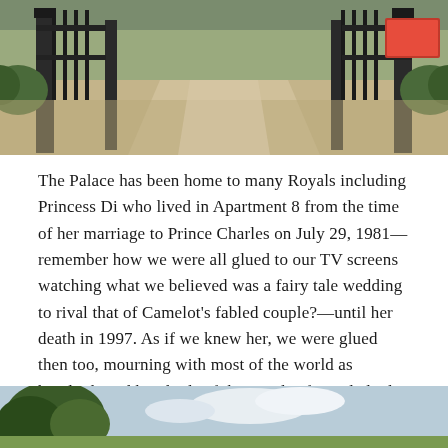[Figure (photo): Photograph of ornate iron gates at a palace entrance, with a path leading through and trees/people visible in the background]
The Palace has been home to many Royals including Princess Di who lived in Apartment 8 from the time of her marriage to Prince Charles on July 29, 1981—remember how we were all glued to our TV screens watching what we believed was a fairy tale wedding to rival that of Camelot's fabled couple?—until her death in 1997. As if we knew her, we were glued then too, mourning with most of the world as hundreds and hundreds of thousands of people laid over a million bouquets at the gold gates to the south of the palace.
[Figure (photo): Photograph showing trees and sky near the palace grounds]